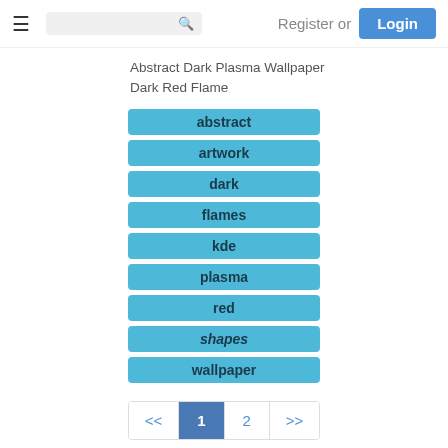Register or Login
Abstract Dark Plasma Wallpaper Dark Red Flame
abstract
artwork
dark
flames
kde
plasma
red
shapes
wallpaper
<< 1 2 >>
Planet Linux'ing Groups - pling.com